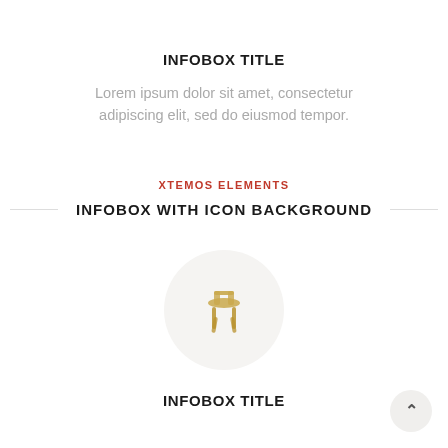INFOBOX TITLE
Lorem ipsum dolor sit amet, consectetur adipiscing elit, sed do eiusmod tempor.
XTEMOS ELEMENTS
INFOBOX WITH ICON BACKGROUND
[Figure (illustration): A small golden/wooden chair figurine centered inside a light gray circle]
INFOBOX TITLE